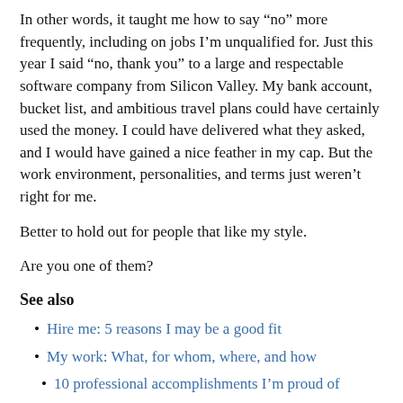In other words, it taught me how to say “no” more frequently, including on jobs I’m unqualified for. Just this year I said “no, thank you” to a large and respectable software company from Silicon Valley. My bank account, bucket list, and ambitious travel plans could have certainly used the money. I could have delivered what they asked, and I would have gained a nice feather in my cap. But the work environment, personalities, and terms just weren’t right for me.
Better to hold out for people that like my style.
Are you one of them?
See also
Hire me: 5 reasons I may be a good fit
My work: What, for whom, where, and how
10 professional accomplishments I’m proud of
Acknowledgments: Without these people, I wouldn’t be here
Select published works, clippings, and feature stories